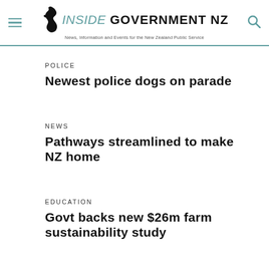INSIDE GOVERNMENT NZ — News, Information and Events for the New Zealand Public Service
POLICE
Newest police dogs on parade
NEWS
Pathways streamlined to make NZ home
EDUCATION
Govt backs new $26m farm sustainability study